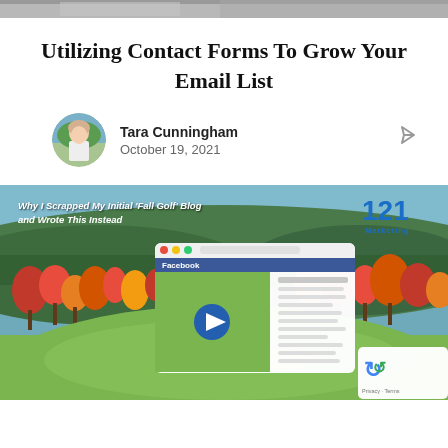[Figure (photo): Top strip showing partial image (cropped photo from above)]
Utilizing Contact Forms To Grow Your Email List
[Figure (photo): Author avatar – woman in white top outdoors]
Tara Cunningham
October 19, 2021
[Figure (screenshot): Screenshot of a marketing video blog post titled 'Why I Scrapped My Initial Fall Golf Blog and Wrote This Instead' with 121 Marketing logo and a Facebook-style browser window showing a video player overlaid on a golf course image]